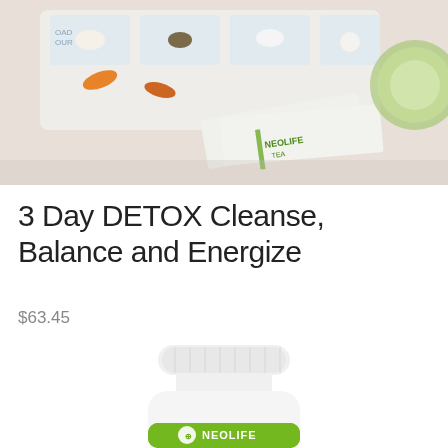[Figure (photo): Top-down photo of NeoLife Tea packets, supplement pills/capsules in a pill organizer, and a slice of cucumber on a white background.]
3 Day DETOX Cleanse, Balance and Energize
$63.45
[Figure (photo): NeoLife supplement bottle with white cap and green label showing the NeoLife logo, partially cropped at bottom of page.]